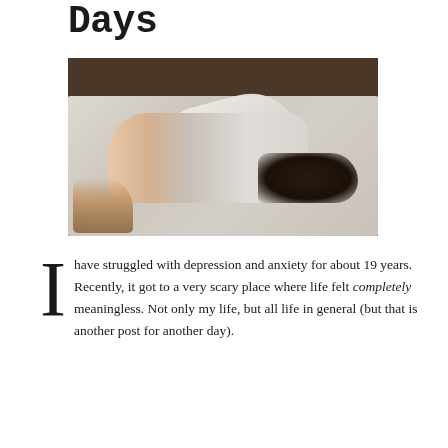Days
[Figure (photo): A person lying curled on a bed with white sheets, face hidden under a pillow, dark hair spread out, wearing dark shorts. Dried flowers/plants visible in the lower left corner. Dark wooden headboard in the background.]
I have struggled with depression and anxiety for about 19 years. Recently, it got to a very scary place where life felt completely meaningless. Not only my life, but all life in general (but that is another post for another day).